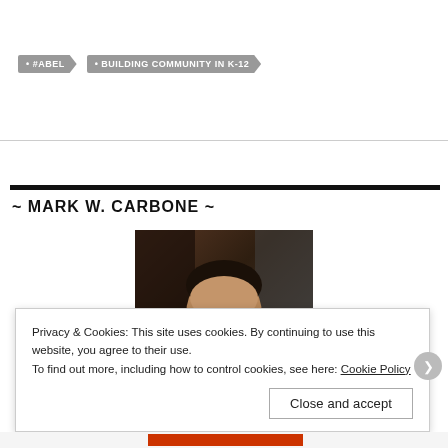#ABEL
BUILDING COMMUNITY IN K-12
~ MARK W. CARBONE ~
[Figure (photo): Portrait photo of Mark W. Carbone, a man with dark beard and glasses, smiling, wearing a dark shirt]
Privacy & Cookies: This site uses cookies. By continuing to use this website, you agree to their use. To find out more, including how to control cookies, see here: Cookie Policy
Close and accept